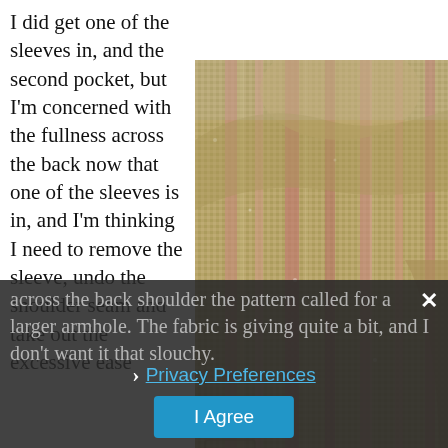I did get one of the sleeves in, and the second pocket, but I'm concerned with the fullness across the back now that one of the sleeves is in, and I'm thinking I need to remove the sleeve, undo the shoulder seam and take out the excessive ease
[Figure (photo): Close-up photo of the back of a woven tweed jacket with pink and green striped fabric, showing the shoulder and sleeve area]
across the back shoulder the pattern called for a larger armhole. The fabric is giving quite a bit, and I don't want it that slouchy.
Privacy Preferences
I Agree